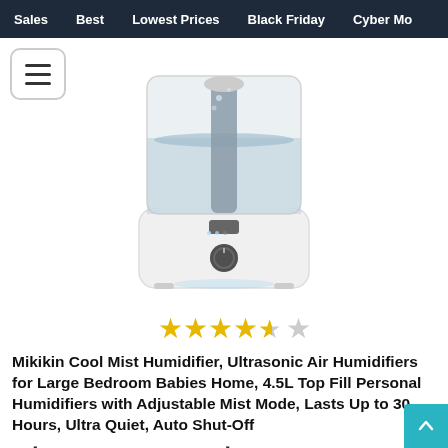Sales   Best   Lowest Prices   Black Friday   Cyber Mo
[Figure (photo): Mikikin Cool Mist Humidifier product photo — a white ultrasonic humidifier with a transparent water tank showing mist/water inside, black base with a glowing button, on a white background]
[Figure (other): 4.5-star rating shown as gold stars (4 full, 1 half, 1 empty)]
Mikikin Cool Mist Humidifier, Ultrasonic Air Humidifiers for Large Bedroom Babies Home, 4.5L Top Fill Personal Humidifiers with Adjustable Mist Mode, Lasts Up to 30 Hours, Ultra Quiet, Auto Shut-Off
【Ultrasonic Cool Mist Humidifier】Safely moisturize the dry air in your room letting you breathe easy